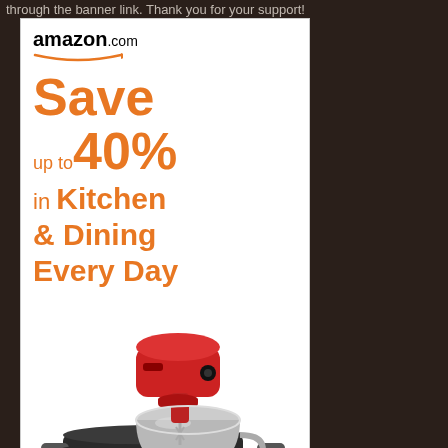through the banner link. Thank you for your support!
[Figure (illustration): Amazon.com advertisement banner showing 'Save up to 40% in Kitchen & Dining Every Day' with images of a red KitchenAid stand mixer and dark cookware set, plus 'Save on' text at the bottom]
Save on